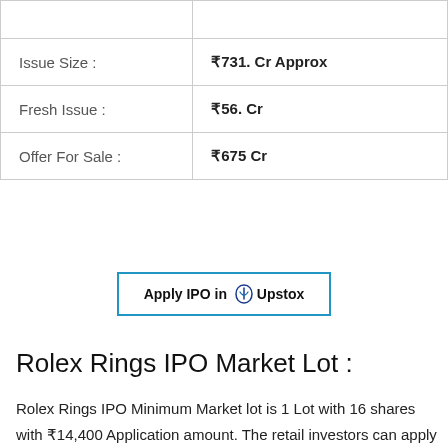|  |  |
| Issue Size : | ₹731. Cr Approx |
| Fresh Issue : | ₹56. Cr |
| Offer For Sale : | ₹675 Cr |
[Figure (logo): Apply IPO in Upstox banner with teal border and Upstox logo]
Rolex Rings IPO Market Lot :
Rolex Rings IPO Minimum Market lot is 1 Lot with 16 shares with ₹14,400 Application amount. The retail investors can apply up to 13 lots with 208 Shares or